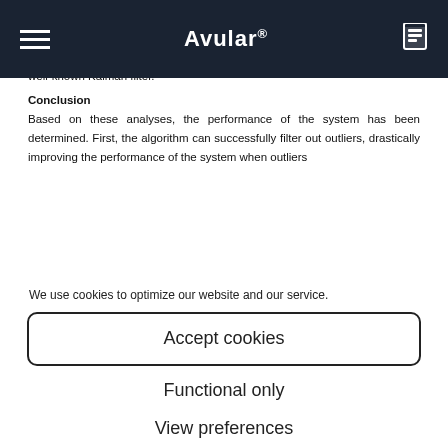Avular®
detailed study on the establishment of the localization algorithm as well as the influence of parameters such as horizon length, covariances and arrival cost are presented and are compared with the current state-of-the-art and a well-known Kalman filter.
Conclusion
Based on these analyses, the performance of the system has been determined. First, the algorithm can successfully filter out outliers, drastically improving the performance of the system when outliers
We use cookies to optimize our website and our service.
Accept cookies
Functional only
View preferences